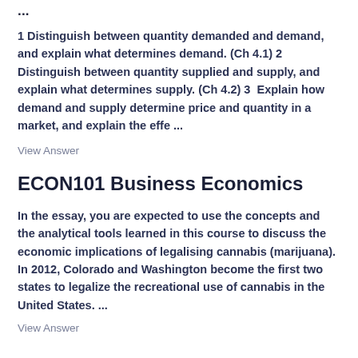...
1 Distinguish between quantity demanded and demand, and explain what determines demand. (Ch 4.1) 2  Distinguish between quantity supplied and supply, and explain what determines supply. (Ch 4.2) 3  Explain how demand and supply determine price and quantity in a market, and explain the effe ...
View Answer
ECON101 Business Economics
In the essay, you are expected to use the concepts and the analytical tools learned in this course to discuss the economic implications of legalising cannabis (marijuana). In 2012, Colorado and Washington become the first two states to legalize the recreational use of cannabis in the United States. ...
View Answer